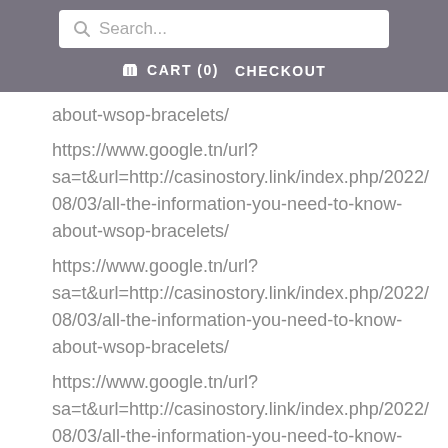Search... | CART (0) CHECKOUT
about-wsop-bracelets/
https://www.google.tn/url?sa=t&url=http://casinostory.link/index.php/2022/08/03/all-the-information-you-need-to-know-about-wsop-bracelets/
https://www.google.tn/url?sa=t&url=http://casinostory.link/index.php/2022/08/03/all-the-information-you-need-to-know-about-wsop-bracelets/
https://www.google.tn/url?sa=t&url=http://casinostory.link/index.php/2022/08/03/all-the-information-you-need-to-know-about-wsop-bracelets/
https://www.google.tn/url?sa=t&url=http://casinostory.link/index.php/2022/